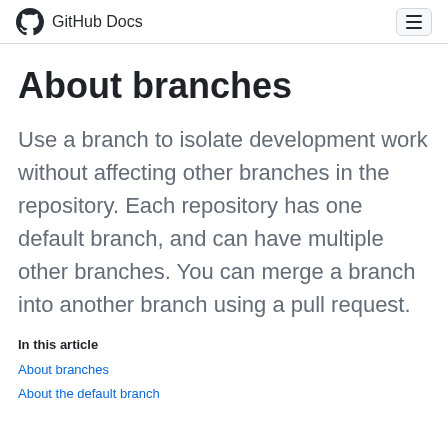GitHub Docs
About branches
Use a branch to isolate development work without affecting other branches in the repository. Each repository has one default branch, and can have multiple other branches. You can merge a branch into another branch using a pull request.
In this article
About branches
About the default branch